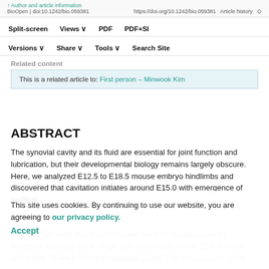Author and article information | BioOpen | doi:10.1242/bio.059381 | https://doi.org/10.1242/bio.059381 | Article history
Split-screen | Views | PDF | PDF+SI | Versions | Share | Tools | Search Site
Related content
This is a related article to: First person – Minwook Kim
ABSTRACT
The synovial cavity and its fluid are essential for joint function and lubrication, but their developmental biology remains largely obscure. Here, we analyzed E12.5 to E18.5 mouse embryo hindlimbs and discovered that cavitation initiates around E15.0 with emergence of multiple, discrete, um-wide disc discontinuities we term microcavities to interzone evolving into a single joint-wide cavity within 12 h in knees and within 72–84 h in interphalangeal joints. The microcavities were
This site uses cookies. By continuing to use our website, you are agreeing to our privacy policy. Accept